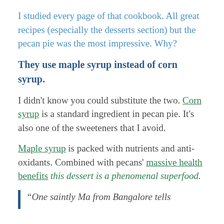I studied every page of that cookbook. All great recipes (especially the desserts section) but the pecan pie was the most impressive. Why?
They use maple syrup instead of corn syrup.
I didn't know you could substitute the two. Corn syrup is a standard ingredient in pecan pie. It's also one of the sweeteners that I avoid.
Maple syrup is packed with nutrients and anti-oxidants. Combined with pecans' massive health benefits this dessert is a phenomenal superfood.
“One saintly Ma from Bangalore tells